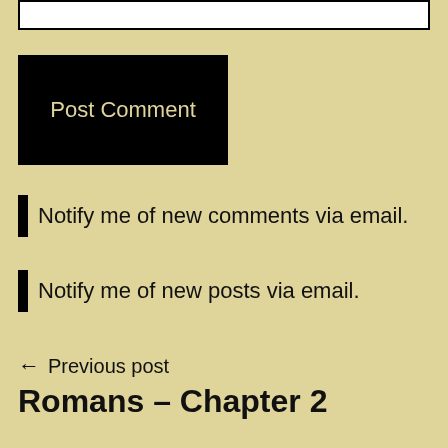[text input box]
Post Comment
Notify me of new comments via email.
Notify me of new posts via email.
← Previous post
Romans – Chapter 2